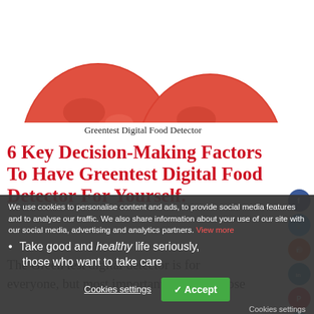[Figure (photo): Two red tomatoes side by side on white background, partially cropped at top]
Greentest Digital Food Detector
6 Key Decision-Making Factors To Have Greentest Digital Food Detector For Yourself.
The Green test digital detector is for everyone, but most importantly, it's for those who:
Take good and healthy life seriously, those who want to take care
We use cookies to personalise content and ads, to provide social media features and to analyse our traffic. We also share information about your use of our site with our social media, advertising and analytics partners. View more